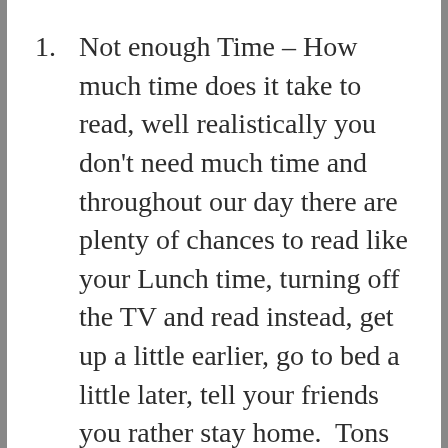Not enough Time – How much time does it take to read, well realistically you don't need much time and throughout our day there are plenty of chances to read like your Lunch time, turning off the TV and read instead, get up a little earlier, go to bed a little later, tell your friends you rather stay home.  Tons